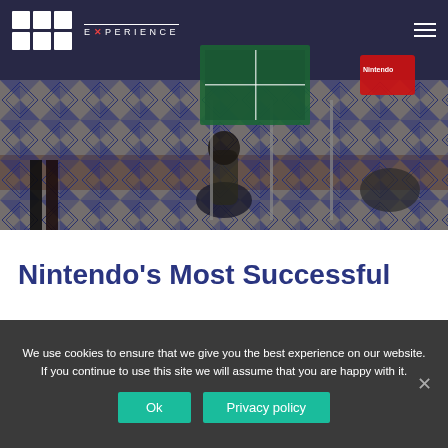[Figure (photo): Aerial view of people walking on a colorful tiled floor with blue geometric/triangular patterns and terracotta/brown tile sections. A Nintendo branded item visible in upper right. BED Experience logo overlay in top left.]
Nintendo's Most Successful
We use cookies to ensure that we give you the best experience on our website. If you continue to use this site we will assume that you are happy with it.